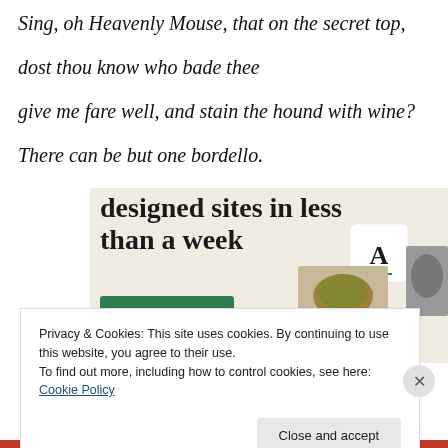Sing, oh Heavenly Mouse, that on the secret top,
dost thou know who bade thee
give me fare well, and stain the hound with wine?
There can be but one bordello.
[Figure (screenshot): Advertisement banner with text 'designed sites in less than a week' on a beige background with a green 'Explore options' button and website mockup images on the right.]
Privacy & Cookies: This site uses cookies. By continuing to use this website, you agree to their use.
To find out more, including how to control cookies, see here: Cookie Policy